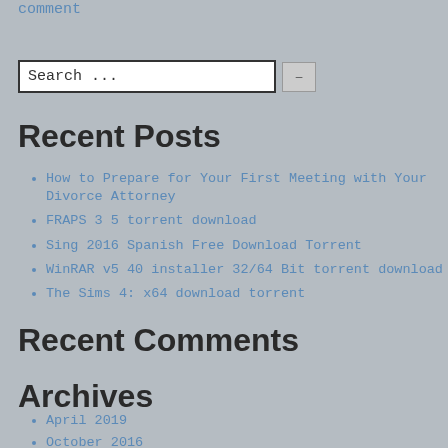comment
Search ...
Recent Posts
How to Prepare for Your First Meeting with Your Divorce Attorney
FRAPS 3 5 torrent download
Sing 2016 Spanish Free Download Torrent
WinRAR v5 40 installer 32/64 Bit torrent download
The Sims 4: x64 download torrent
Recent Comments
Archives
April 2019
October 2016